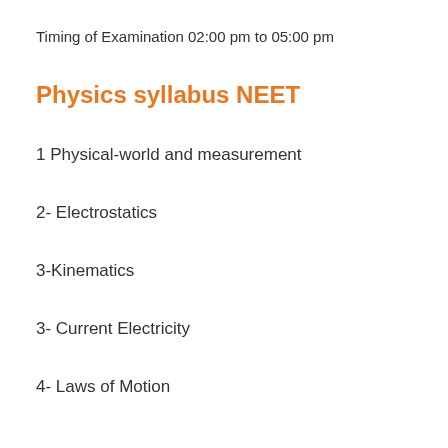Timing of Examination 02:00 pm to 05:00 pm
Physics syllabus NEET
1  Physical-world and measurement
2- Electrostatics
3-Kinematics
3- Current Electricity
4- Laws of Motion